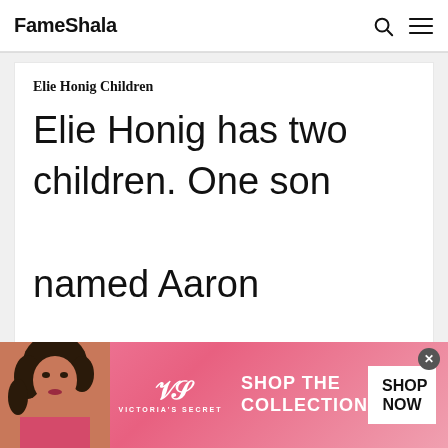FameShala
Elie Honig Children
Elie Honig has two children. One son named Aaron Honig and one
[Figure (infographic): Victoria's Secret advertisement banner with model photo, VS logo, 'SHOP THE COLLECTION' text, and 'SHOP NOW' button]